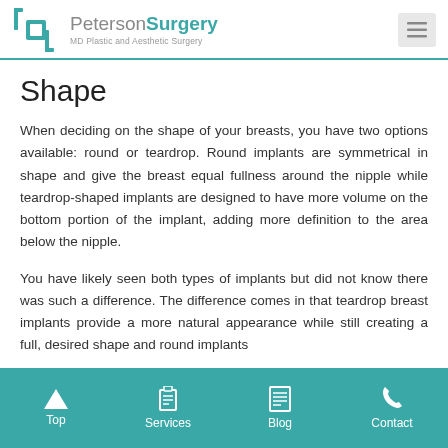PetersonSurgery MD Plastic and Aesthetic Surgery
Shape
When deciding on the shape of your breasts, you have two options available: round or teardrop. Round implants are symmetrical in shape and give the breast equal fullness around the nipple while teardrop-shaped implants are designed to have more volume on the bottom portion of the implant, adding more definition to the area below the nipple.
You have likely seen both types of implants but did not know there was such a difference. The difference comes in that teardrop breast implants provide a more natural appearance while still creating a full, desired shape and round implants
Top   Services   Blog   Contact